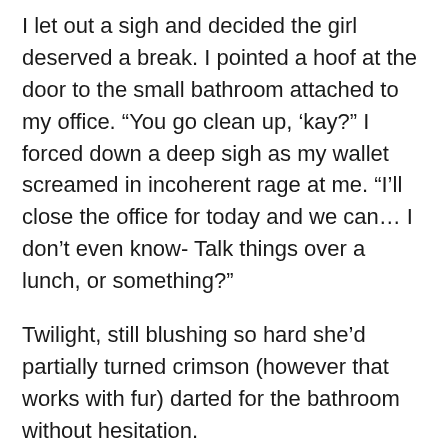I let out a sigh and decided the girl deserved a break. I pointed a hoof at the door to the small bathroom attached to my office. “You go clean up, ‘kay?” I forced down a deep sigh as my wallet screamed in incoherent rage at me. “I’ll close the office for today and we can… I don’t even know- Talk things over a lunch, or something?”
Twilight, still blushing so hard she’d partially turned crimson (however that works with fur) darted for the bathroom without hesitation.
I got up, trotted over and stuck my head through the doorway, trying not to wince at how much revenue I was about to lose. “I’m sorry, but my current client has had a small accident. Would you all please come back tomorrow after I’ve cleaned the office?”